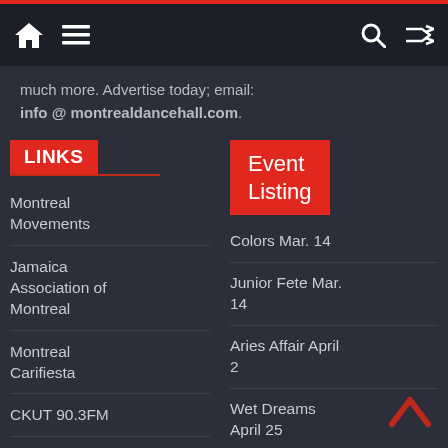Navigation bar with home, menu, search, shuffle icons
much more. Advertise today; email: info @ montrealdancehall.com.
LINKS
Event Listing
Montreal Movements
Jamaica Association of Montreal
Montreal Carifiesta
CKUT 90.3FM
Montreal Community Contact
Colors Mar. 14
Junior Fete Mar. 14
Aries Affair April 2
Wet Dreams April 25
Soca Boat Weekend June 25-28